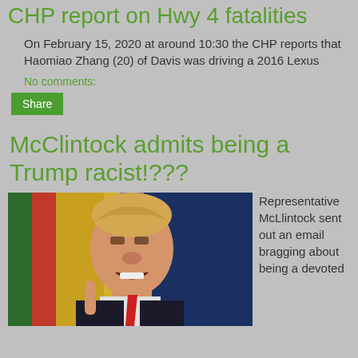CHP report on Hwy 4 fatalities
On February 15, 2020 at around 10:30 the CHP reports that Haomiao Zhang (20) of Davis was driving a 2016 Lexus
No comments:
Share
McClintock admits being a Trump racist!???
[Figure (photo): Photo of Donald Trump gesturing with one finger raised, speaking at a podium, with colorful flags in the background]
Representative McClintock sent out an email bragging about being a devoted